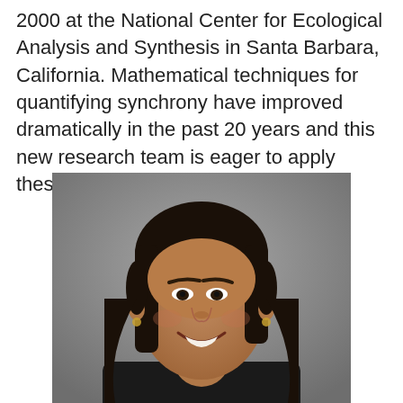2000 at the National Center for Ecological Analysis and Synthesis in Santa Barbara, California. Mathematical techniques for quantifying synchrony have improved dramatically in the past 20 years and this new research team is eager to apply these new approaches.
[Figure (photo): Headshot portrait of a young woman with long dark hair, smiling, against a grey background.]